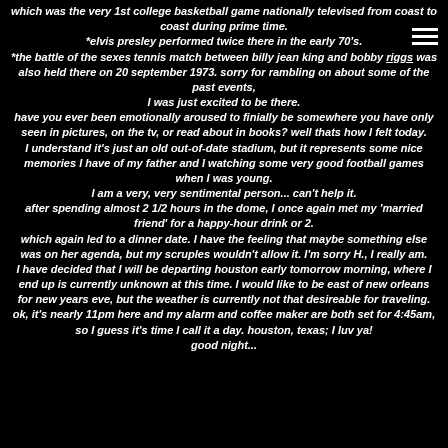which was the very 1st college basketball game nationally televised from coast to coast during prime time. *elvis presley performed twice there in the early 70's. *the battle of the sexes tennis match between billy jean king and bobby riggs was also held there on 20 september 1973. sorry for rambling on about some of the past events, I was just excited to be there. have you ever been emotionally aroused to finially be somewhere you have only seen in pictures, on the tv, or read about in books? well thats how I felt today. I understand it's just an old out-of-date stadium, but it represents some nice memories I have of my father and I watching some very good football games when I was young. I am a very, very sentimental person... can't help it. after spending almost 2 1/2 hours in the dome, I once again met my 'married friend' for a happy-hour drink or 2. which again led to a dinner date. I have the feeling that maybe something else was on her agenda, but my scruples wouldn't allow it. I'm sorry H., I really am. I have decided that I will be departing houston early tomorrow morning, where I end up is currently unknown at this time. I would like to be east of new orleans for new years eve, but the weather is currently not that desireable for traveling. ok, it's nearly 11pm here and my alarm and coffee maker are both set for 4:45am, so I guess it's time I call it a day. houston, texas; I luv ya! good night...